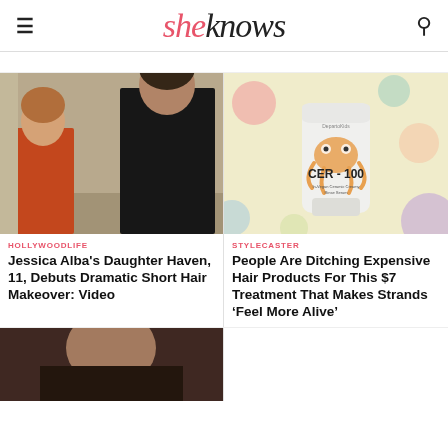sheknows
[Figure (photo): Jessica Alba and her daughter Haven walking together. Haven is wearing an orange dress, Jessica is wearing a black dress.]
HOLLYWOODLIFE
Jessica Alba's Daughter Haven, 11, Debuts Dramatic Short Hair Makeover: Video
[Figure (photo): CER-100 hair treatment product tube on a pastel polka dot background]
STYLECASTER
People Are Ditching Expensive Hair Products For This $7 Treatment That Makes Strands ‘Feel More Alive’
[Figure (photo): Partial view of a person, cropped article thumbnail at bottom of page]